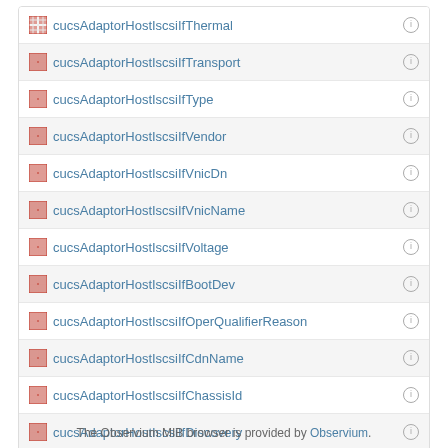cucsAdaptorHostIscsiIfThermal
cucsAdaptorHostIscsiIfTransport
cucsAdaptorHostIscsiIfType
cucsAdaptorHostIscsiIfVendor
cucsAdaptorHostIscsiIfVnicDn
cucsAdaptorHostIscsiIfVnicName
cucsAdaptorHostIscsiIfVoltage
cucsAdaptorHostIscsiIfBootDev
cucsAdaptorHostIscsiIfOperQualifierReason
cucsAdaptorHostIscsiIfCdnName
cucsAdaptorHostIscsiIfChassisId
cucsAdaptorHostIscsiIfDiscovery
cucsAdaptorHostIscsiIfEpDn
cucsAdaptorHostIscsiIfEthEpDn
The Observium MIB browser is provided by Observium.